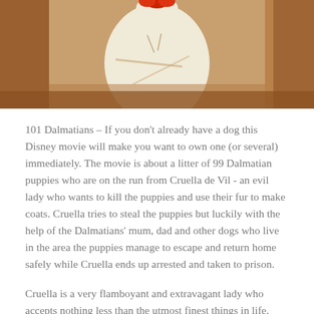[Figure (illustration): Animated illustration of Cruella de Vil character from 101 Dalmatians, showing a figure in white with a red accent, against a brown/orange background.]
101 Dalmatians – If you don't already have a dog this Disney movie will make you want to own one (or several) immediately. The movie is about a litter of 99 Dalmatian puppies who are on the run from Cruella de Vil - an evil lady who wants to kill the puppies and use their fur to make coats. Cruella tries to steal the puppies but luckily with the help of the Dalmatians' mum, dad and other dogs who live in the area the puppies manage to escape and return home safely while Cruella ends up arrested and taken to prison.
Cruella is a very flamboyant and extravagant lady who accepts nothing less than the utmost finest things in life.
How we brought Cruella de Vil's ring to life